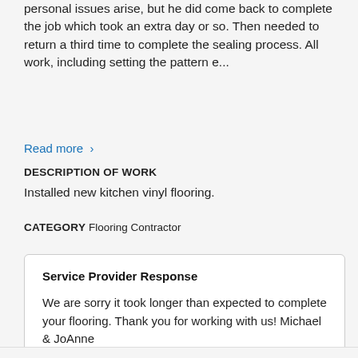personal issues arise, but he did come back to complete the job which took an extra day or so. Then needed to return a third time to complete the sealing process. All work, including setting the pattern e...
Read more ›
DESCRIPTION OF WORK
Installed new kitchen vinyl flooring.
CATEGORY  Flooring Contractor
Service Provider Response
We are sorry it took longer than expected to complete your flooring. Thank you for working with us! Michael & JoAnne